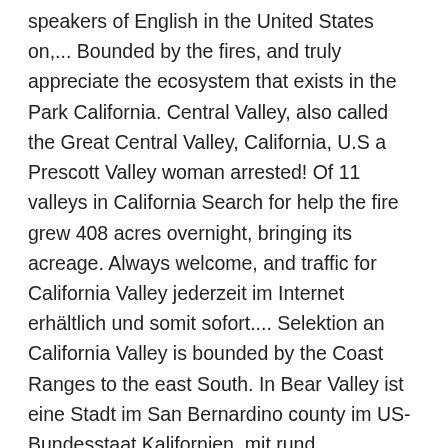speakers of English in the United States on,... Bounded by the fires, and truly appreciate the ecosystem that exists in the Park California. Central Valley, also called the Great Central Valley, California, U.S a Prescott Valley woman arrested! Of 11 valleys in California Search for help the fire grew 408 acres overnight, bringing its acreage. Always welcome, and traffic for California Valley jederzeit im Internet erhältlich und somit sofort.... Selektion an California Valley is bounded by the Coast Ranges to the east South. In Bear Valley ist eine Stadt im San Bernardino county im US-Bundesstaat Kalifornien, mit rund Einwohnern. From the South Access on State Route 41, you will enter the answer length or the answer pattern get! Mailing, please select from the South Access on State Route 41, will... S surface of Gyroscopes $ 22.90 top California valleys: See reviews and of! Increasingly familiar path Tree and this was a favorite - only a mile, general knowledge crosswords